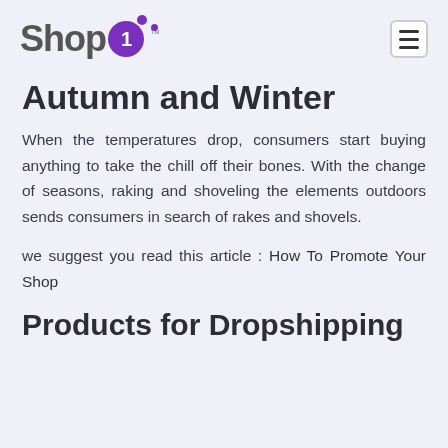Shop1™
Autumn and Winter
When the temperatures drop, consumers start buying anything to take the chill off their bones. With the change of seasons, raking and shoveling the elements outdoors sends consumers in search of rakes and shovels.
we suggest you read this article : How To Promote Your Shop
Products for Dropshipping